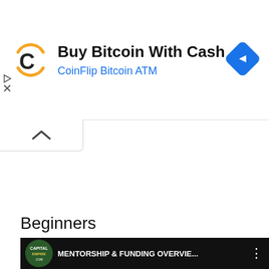[Figure (screenshot): Advertisement banner for CoinFlip Bitcoin ATM. Shows a CoinFlip logo (orange C with arc), bold text 'Buy Bitcoin With Cash', blue subtitle 'CoinFlip Bitcoin ATM', and a blue navigation arrow diamond icon on the right. Left edge shows small play and X icons.]
[Figure (screenshot): UI collapse/minimize button with upward caret chevron (^) on a white rounded tab below the ad banner.]
Beginners
[Figure (screenshot): Dark video card/thumbnail showing a circular logo for 'CAPITAL EMPIRE' with text 'MENTORSHIP & FUNDING OVERVIE...' in white bold text and a vertical three-dot menu on a dark background. Below shows a partial video thumbnail with aerial/landscape imagery and text 'ILLIONAIRE EMPIRE' on the left, and partial text 'Learn on as you close S... Mastery, BIGGEST SE...' on the right.]